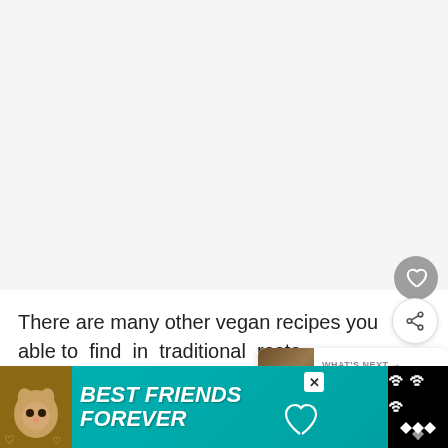[Figure (screenshot): White/light gray area representing a blank or image area at top of mobile screen]
There are many other vegan recipes you able to find in traditional resta Romania, and I don't think you'd be disappointed.
[Figure (screenshot): What's Next bubble showing '14 Reasons to Go Vegan an...' with thumbnail of animal]
[Figure (screenshot): Advertisement banner: BEST FRIENDS FOREVER with cat image on teal background, and Tidal logo on black background on right]